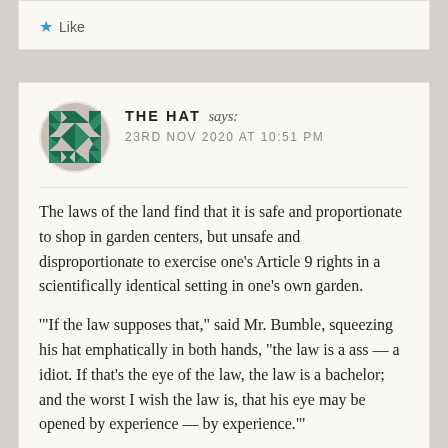Like
THE HAT says: 23RD NOV 2020 AT 10:51 PM
The laws of the land find that it is safe and proportionate to shop in garden centers, but unsafe and disproportionate to exercise one’s Article 9 rights in a scientically identical setting in one’s own garden.
‘“If the law supposes that,” said Mr. Bumble, squeezing his hat emphatically in both hands, “the law is a ass — a idiot. If that’s the eye of the law, the law is a bachelor; and the worst I wish the law is, that his eye may be opened by experience — by experience.”’
Like